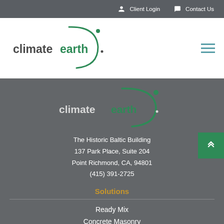Client Login   Contact Us
[Figure (logo): Climate Earth logo in navigation bar - green arc with dot and 'climate earth' text]
[Figure (logo): Climate Earth logo in footer - white and green 'climate earth' text with green arc]
The Historic Baltic Building
137 Park Place, Suite 204
Point Richmond, CA, 94801
(415) 391-2725
Solutions
Ready Mix
Concrete Masonry